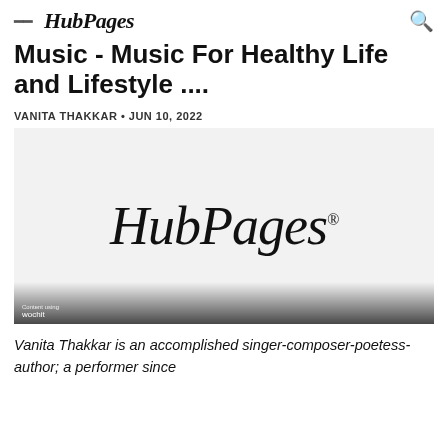HubPages
Music - Music For Healthy Life and Lifestyle ....
VANITA THAKKAR • JUN 10, 2022
[Figure (logo): HubPages logo with registered trademark symbol on a light gray background, with wochit watermark bar at bottom]
Vanita Thakkar is an accomplished singer-composer-poetess-author; a performer since